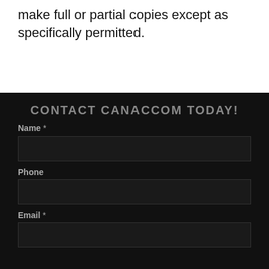make full or partial copies except as specifically permitted.
CONTACT CANACCOM TODAY!
Name *
Phone
Email *